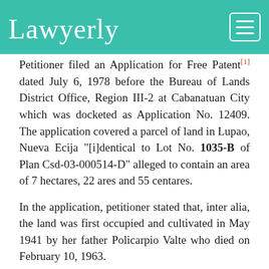Lawyerly
Petitioner filed an Application for Free Patent[1] dated July 6, 1978 before the Bureau of Lands District Office, Region III-2 at Cabanatuan City which was docketed as Application No. 12409. The application covered a parcel of land in Lupao, Nueva Ecija "[i]dentical to Lot No. 1035-B of Plan Csd-03-000514-D" alleged to contain an area of 7 hectares, 22 ares and 55 centares.
In the application, petitioner stated that, inter alia, the land was first occupied and cultivated in May 1941 by her father Policarpio Valte who died on February 10, 1963.
To the application was attached a July 6, 1978 Joint Affidavit[2] executed by Procopio Vallega and herein